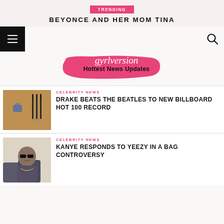TRENDING
BEYONCE AND HER MOM TINA
[Figure (logo): gyrlversion Hottest News Updates logo with pink brush stroke background]
[Figure (photo): Article thumbnail showing forks on a plate, Drake article]
CELEBRITY NEWS
DRAKE BEATS THE BEATLES TO NEW BILLBOARD HOT 100 RECORD
[Figure (photo): Article thumbnail showing Kanye West wearing sunglasses]
CELEBRITY NEWS
KANYE RESPONDS TO YEEZY IN A BAG CONTROVERSY